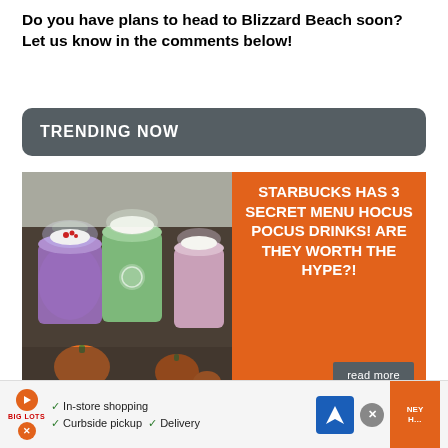Do you have plans to head to Blizzard Beach soon? Let us know in the comments below!
TRENDING NOW
[Figure (photo): Three colorful Starbucks frappuccino drinks with whipped cream toppings surrounded by pumpkins, with ©DisneyF watermark]
STARBUCKS HAS 3 SECRET MENU HOCUS POCUS DRINKS! ARE THEY WORTH THE HYPE?!
read more
[Figure (photo): Partially visible second trending article image]
PHOTOS: WE'RE
In-store shopping  Curbside pickup  Delivery